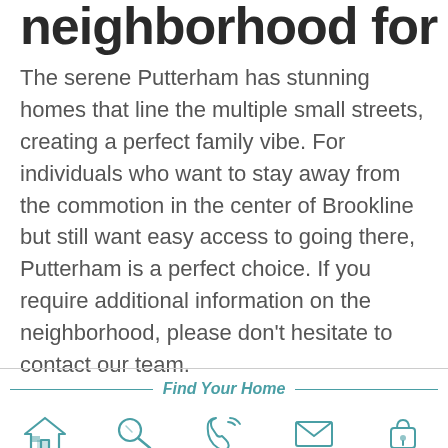neighborhood for
The serene Putterham has stunning homes that line the multiple small streets, creating a perfect family vibe. For individuals who want to stay away from the commotion in the center of Brookline but still want easy access to going there, Putterham is a perfect choice. If you require additional information on the neighborhood, please don't hesitate to contact our team.
Find Your Home
[Figure (infographic): Navigation bar with icons for Home, Search, Call, Email, Account]